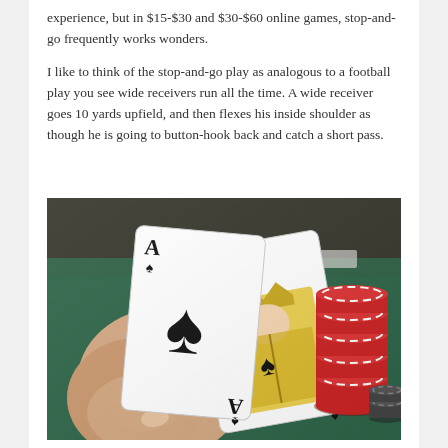experience, but in $15-$30 and $30-$60 online games, stop-and-go frequently works wonders.
I like to think of the stop-and-go play as analogous to a football play you see wide receivers run all the time. A wide receiver goes 10 yards upfield, and then flexes his inside shoulder as though he is going to button-hook back and catch a short pass.
[Figure (photo): A hand holding two playing cards (Ace of spades and King of spades) over a green poker table felt, with a stack of red poker chips visible on the right side of the image.]